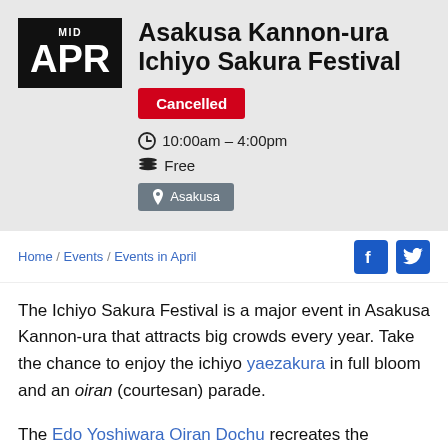Asakusa Kannon-ura Ichiyo Sakura Festival
Cancelled
10:00am – 4:00pm
Free
Asakusa
Home / Events / Events in April
The Ichiyo Sakura Festival is a major event in Asakusa Kannon-ura that attracts big crowds every year. Take the chance to enjoy the ichiyo yaezakura in full bloom and an oiran (courtesan) parade.
The Edo Yoshiwara Oiran Dochu recreates the processions held back in the Edo Period. The parade